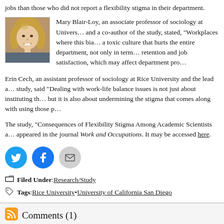jobs than those who did not report a flexibility stigma in their department.
Mary Blair-Loy, an associate professor of sociology at University [of California San Diego] and a co-author of the study, stated, "Workplaces where this bias exists have a toxic culture that hurts the entire department, not only in terms of retention and job satisfaction, which may affect department pro..."
[Figure (photo): Headshot photo of Mary Blair-Loy, a woman with blonde hair, smiling.]
Erin Cech, an assistant professor of sociology at Rice University and the lead author of the study, said "Dealing with work-life balance issues is not just about instituting the policies, but it is also about undermining the stigma that comes along with using those p..."
The study, "Consequences of Flexibility Stigma Among Academic Scientists and Engineers," appeared in the journal Work and Occupations. It may be accessed here.
Filed Under: Research/Study
Tags: Rice University • University of California San Diego
Comments (1)
Leave a Reply